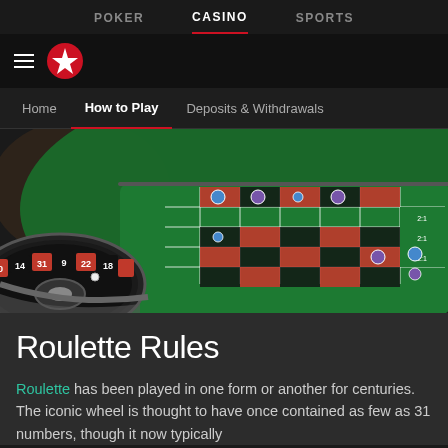POKER | CASINO | SPORTS
[Figure (logo): PokerStars logo with hamburger menu and star icon]
Home | How to Play | Deposits & Withdrawals
[Figure (photo): Roulette table with green felt, chips, and roulette wheel showing numbers 20, 14, 31, 9, 22, 18]
Roulette Rules
Roulette has been played in one form or another for centuries. The iconic wheel is thought to have once contained as few as 31 numbers, though it now typically